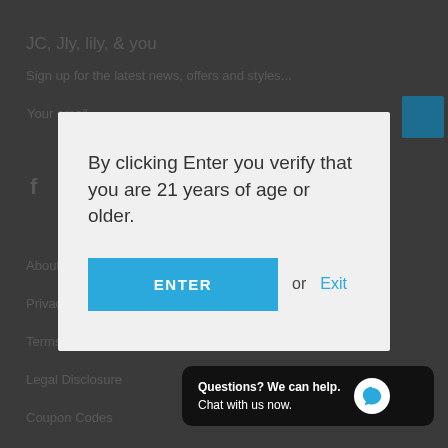[Figure (screenshot): Dark grey website background with blurred text links and social icons]
By clicking Enter you verify that you are 21 years of age or older.
ENTER or Exit
Questions? We can help. Chat with us now.